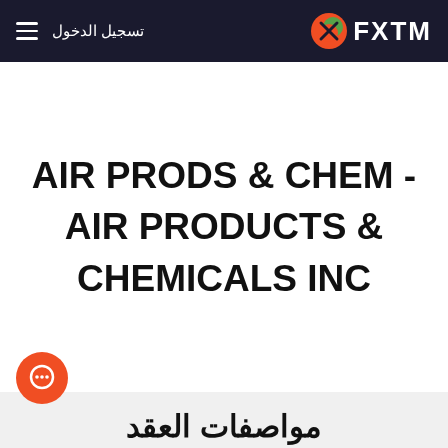تسجيل الدخول | FXTM
AIR PRODS & CHEM - AIR PRODUCTS & CHEMICALS INC
مواصفات العقد